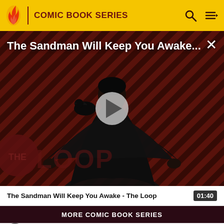COMIC BOOK SERIES
[Figure (screenshot): Video thumbnail for 'The Sandman Will Keep You Awake - The Loop' showing a dark figure in black cloak against a diagonal red/black striped background with THE LOOP logo. A play button overlay is visible in the center.]
The Sandman Will Keep You Awake...
The Sandman Will Keep You Awake - The Loop  01:40
MORE COMIC BOOK SERIES
1  The Boys